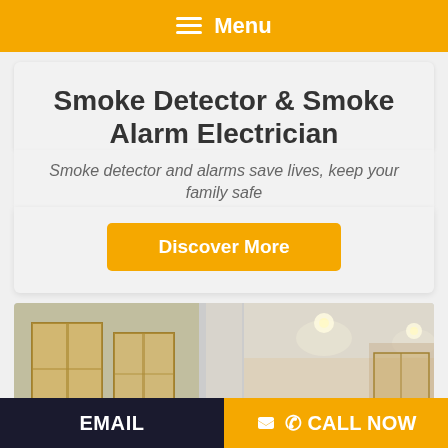≡ Menu
Smoke Detector & Smoke Alarm Electrician
Smoke detector and alarms save lives, keep your family safe
Discover More
[Figure (photo): Interior/exterior building photo showing glass sliding doors and recessed ceiling lights in a modern home or apartment]
EMAIL   ☎ CALL NOW